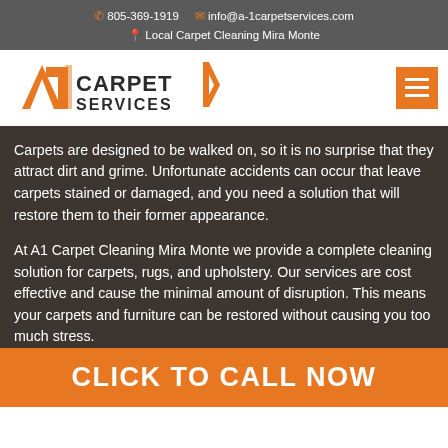805-369-1919  info@a-1carpetservices.com  Local Carpet Cleaning Mira Monte
[Figure (logo): A1 Carpet Services logo with orange stylized A1 and dark bold CARPET SERVICES text]
Carpets are designed to be walked on, so it is no surprise that they attract dirt and grime. Unfortunate accidents can occur that leave carpets stained or damaged, and you need a solution that will restore them to their former appearance.
At A1 Carpet Cleaning Mira Monte we provide a complete cleaning solution for carpets, rugs, and upholstery. Our services are cost effective and cause the minimal amount of disruption. This means your carpets and furniture can be restored without causing you too much stress.
CLICK TO CALL NOW